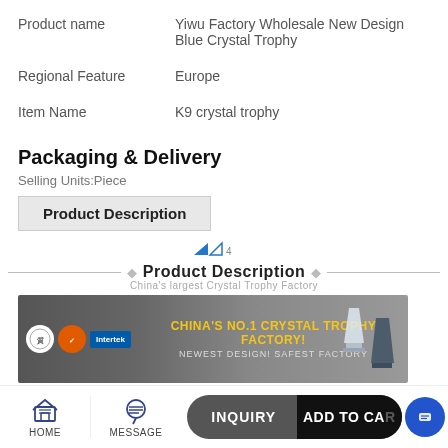| Field | Value |
| --- | --- |
| Product name | Yiwu Factory Wholesale New Design Blue Crystal Trophy |
| Regional Feature | Europe |
| Item Name | K9 crystal trophy |
Packaging & Delivery
Selling Units:Piece
Product Description
[Figure (infographic): Decorative product description banner with arrow icons, horizontal rule with diamond ornaments and bold 'Product Description' title, subtitle 'China's largest Crystal Trophy Factory', followed by a dark banner showing 'CHINA'S NO.1 CRYSTAL TROPHY FACTORY! NEWEST DESIGN! SAFEST FACTORY' with certification logos (Intertek) and crystal trophy images.]
HOME   MESSAGE   INQUIRY   ADD TO CART